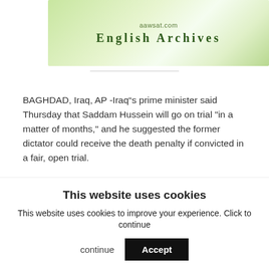[Figure (screenshot): aawsat.com English Archives banner with green gradient background]
BAGHDAD, Iraq, AP -Iraq“s prime minister said Thursday that Saddam Hussein will go on trial &#34in a matter of months,&#34 and he suggested the former dictator could receive the death penalty if convicted in a fair, open trial.
Huge interest developed around Saddam“s imminent trial over the past week following comments by senior Iraqi officials, including President Jalal Talabani, that
This website uses cookies
This website uses cookies to improve your experience. Click to continue
Accept